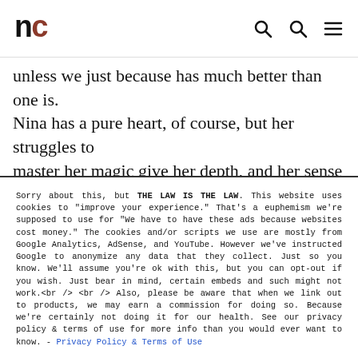nc
...unless we just because has much better than one is. Nina has a pure heart, of course, but her struggles to master her magic give her depth, and her sense of responsibility makes her more than a sheep. Ayu is a typical middle school girl, but her friendship with and admiration for her goofy friend Nina makes her less...
Sorry about this, but THE LAW IS THE LAW. This website uses cookies to "improve your experience." That's a euphemism we're supposed to use for "We have to have these ads because websites cost money." The cookies and/or scripts we use are mostly from Google Analytics, AdSense, and YouTube. However we've instructed Google to anonymize any data that they collect. Just so you know. We'll assume you're ok with this, but you can opt-out if you wish. Just bear in mind, certain embeds and such might not work.<br /> <br /> Also, please be aware that when we link out to products, we may earn a commission for doing so. Because we're certainly not doing it for our health. See our privacy policy & terms of use for more info than you would ever want to know. - Privacy Policy & Terms of Use